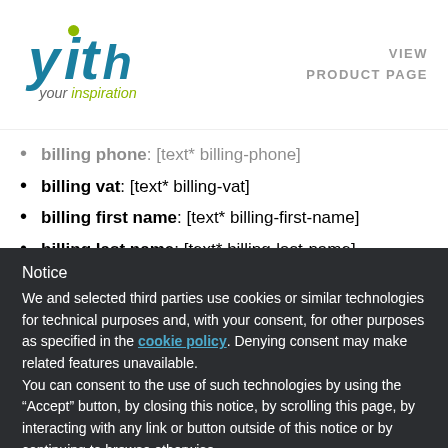[Figure (logo): YITH logo with 'your inspiration' tagline]
VIEW PRODUCT PAGE
billing phone: [text* billing-phone] (partially visible, faded)
billing vat: [text* billing-vat]
billing first name: [text* billing-first-name]
billing last name: [text* billing-last-name]
Notice
We and selected third parties use cookies or similar technologies for technical purposes and, with your consent, for other purposes as specified in the cookie policy. Denying consent may make related features unavailable.
You can consent to the use of such technologies by using the “Accept” button, by closing this notice, by scrolling this page, by interacting with any link or button outside of this notice or by continuing to browse otherwise.
LEARN MORE AND CUSTOMIZE
ACCEPT